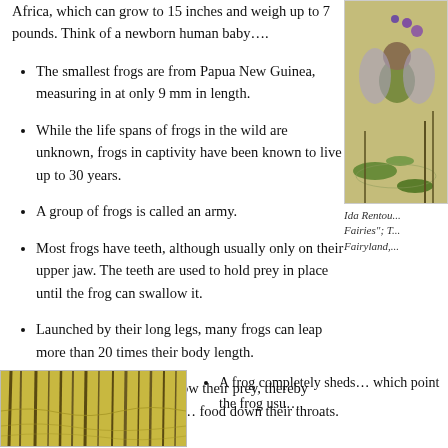Africa, which can grow to 15 inches and weigh up to 7 pounds. Think of a newborn human baby….
The smallest frogs are from Papua New Guinea, measuring in at only 9 mm in length.
While the life spans of frogs in the wild are unknown, frogs in captivity have been known to live up to 30 years.
A group of frogs is called an army.
Most frogs have teeth, although usually only on their upper jaw. The teeth are used to hold prey in place until the frog can swallow it.
Launched by their long legs, many frogs can leap more than 20 times their body length.
Frogs blink as they swallow their prey, thereby pushing their eyeballs down to help push food down their throats.
[Figure (illustration): Illustration of a frog fairy sitting among lily pads and water plants]
Ida Rentou... Fairies"; T... Fairyland,...
[Figure (illustration): Illustration showing reeds and water plants in a greenish-yellow palette]
A frog completely sheds... which point the frog usu...